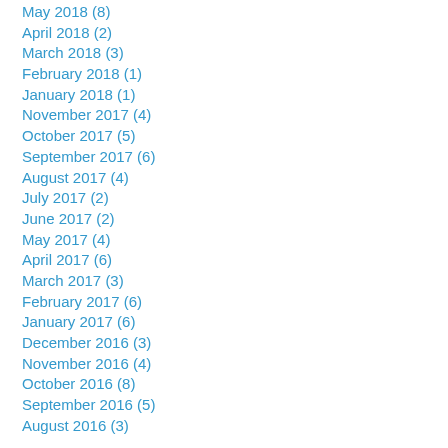May 2018 (8)
April 2018 (2)
March 2018 (3)
February 2018 (1)
January 2018 (1)
November 2017 (4)
October 2017 (5)
September 2017 (6)
August 2017 (4)
July 2017 (2)
June 2017 (2)
May 2017 (4)
April 2017 (6)
March 2017 (3)
February 2017 (6)
January 2017 (6)
December 2016 (3)
November 2016 (4)
October 2016 (8)
September 2016 (5)
August 2016 (3)